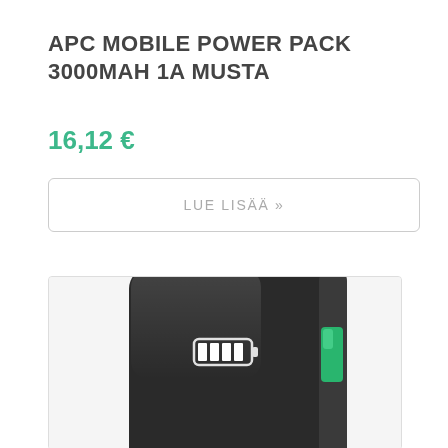APC MOBILE POWER PACK 3000MAH 1A MUSTA
16,12 €
LUE LISÄÄ »
[Figure (photo): APC Mobile Power Pack 3000mAh black portable battery charger, showing the front face with a white battery indicator icon and a green LED indicator on the right side, with the APC logo visible at the bottom.]